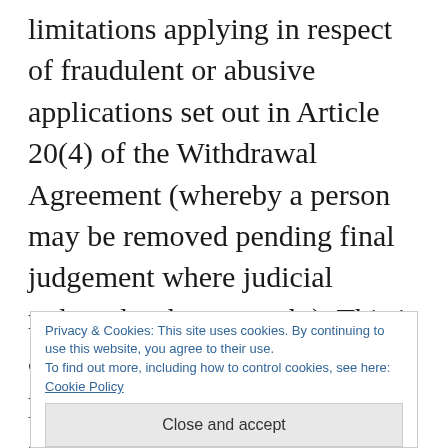limitations applying in respect of fraudulent or abusive applications set out in Article 20(4) of the Withdrawal Agreement (whereby a person may be removed pending final judgement where judicial redress has been sought). This is a very useful source of protection that allows a person access to rights (such as the right to take employment) pending judicial challenge to an adverse decision on residence status
Privacy & Cookies: This site uses cookies. By continuing to use this website, you agree to their use. To find out more, including how to control cookies, see here: Cookie Policy
Close and accept